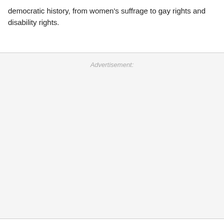democratic history, from women’s suffrage to gay rights and disability rights.
Advertisement: